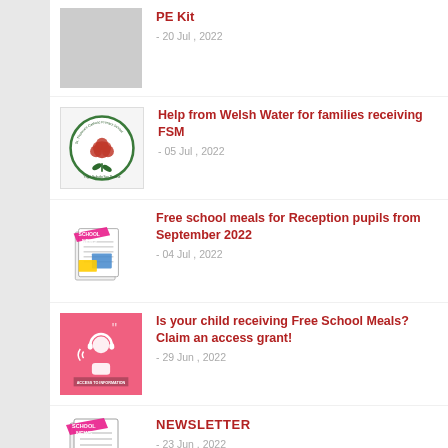[Figure (illustration): Gray placeholder thumbnail image for PE Kit article]
PE Kit
- 20 Jul , 2022
[Figure (logo): St Therese's Catholic Primary School circular logo with red rose illustration]
Help from Welsh Water for families receiving FSM
- 05 Jul , 2022
[Figure (illustration): School News graphic with colorful newspaper illustration]
Free school meals for Reception pupils from September 2022
- 04 Jul , 2022
[Figure (illustration): Pink Access to Information graphic with headphones icon]
Is your child receiving Free School Meals? Claim an access grant!
- 29 Jun , 2022
[Figure (illustration): School News graphic with colorful newspaper illustration]
NEWSLETTER
- 23 Jun , 2022